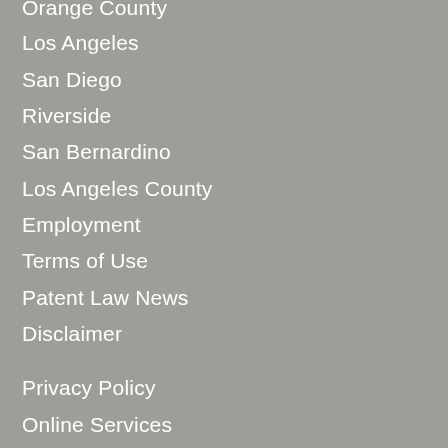Orange County
Los Angeles
San Diego
Riverside
San Bernardino
Los Angeles County
Employment
Terms of Use
Patent Law News
Disclaimer
Privacy Policy
Online Services
Learning
Services
Patent Attorney
Faq